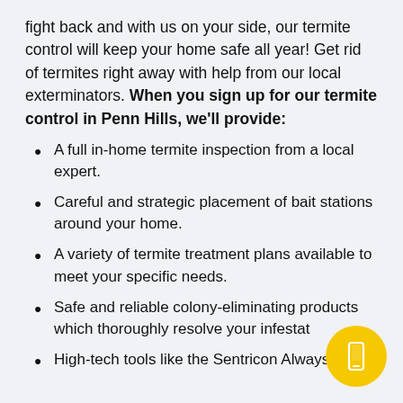fight back and with us on your side, our termite control will keep your home safe all year! Get rid of termites right away with help from our local exterminators. When you sign up for our termite control in Penn Hills, we'll provide:
A full in-home termite inspection from a local expert.
Careful and strategic placement of bait stations around your home.
A variety of termite treatment plans available to meet your specific needs.
Safe and reliable colony-eliminating products which thoroughly resolve your infestat…
High-tech tools like the Sentricon Always